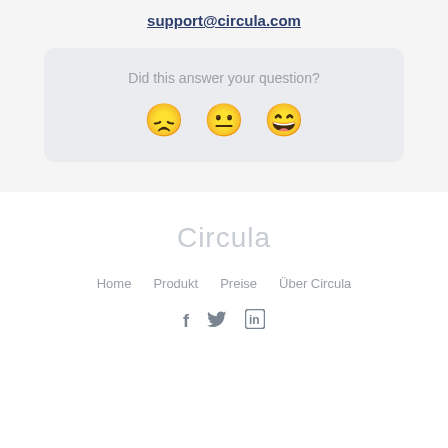support@circula.com
[Figure (infographic): Feedback widget with three emoji faces (sad, neutral, happy) and text 'Did this answer your question?']
Circula
Home   Produkt   Preise   Über Circula
[Figure (infographic): Social media icons: Facebook (f), Twitter bird, LinkedIn (in)]